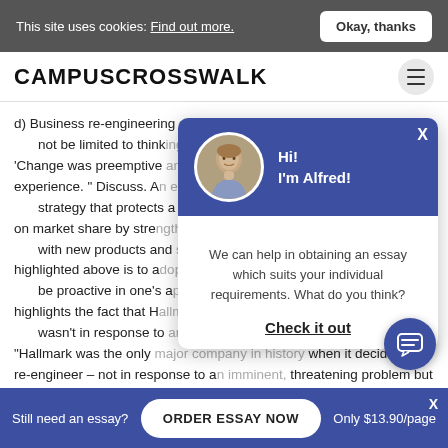This site uses cookies: Find out more. | Okay, thanks
CAMPUSCROSSWALK
d) Business re-engineering should focus on processes and not be limited to think 'Change was preemptive experience. " Discuss. A strategy that protects a on market share by stren with new products and highlighted above is to a be proactive in one's a highlights the fact that H wasn't in response to "Hallmark was the only w when it decided to re-engineer – not in response to a threatening problem but in a farsighted effort to keep s
[Figure (other): Chat popup with avatar of Alfred saying Hi! I'm Alfred! with message: We can help in obtaining an essay which suits your individual requirements. What do you think? Check it out link]
[Figure (other): Chat FAB button with message icon]
Still need an essay? | ORDER ESSAY NOW | Only $13.90/page